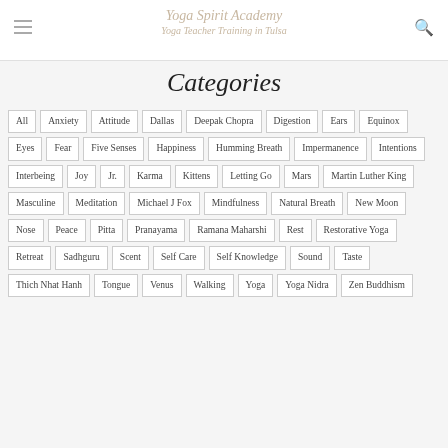Yoga Spirit Academy — Yoga Teacher Training in Tulsa
Categories
All
Anxiety
Attitude
Dallas
Deepak Chopra
Digestion
Ears
Equinox
Eyes
Fear
Five Senses
Happiness
Humming Breath
Impermanence
Intentions
Interbeing
Joy
Jr.
Karma
Kittens
Letting Go
Mars
Martin Luther King
Masculine
Meditation
Michael J Fox
Mindfulness
Natural Breath
New Moon
Nose
Peace
Pitta
Pranayama
Ramana Maharshi
Rest
Restorative Yoga
Retreat
Sadhguru
Scent
Self Care
Self Knowledge
Sound
Taste
Thich Nhat Hanh
Tongue
Venus
Walking
Yoga
Yoga Nidra
Zen Buddhism